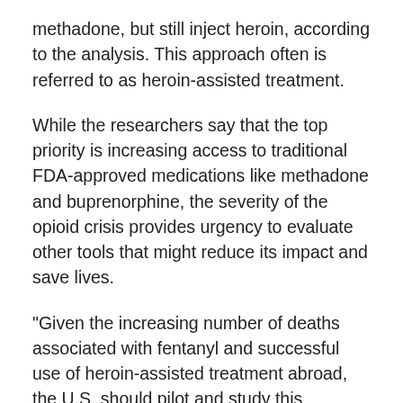methadone, but still inject heroin, according to the analysis. This approach often is referred to as heroin-assisted treatment.
While the researchers say that the top priority is increasing access to traditional FDA-approved medications like methadone and buprenorphine, the severity of the opioid crisis provides urgency to evaluate other tools that might reduce its impact and save lives.
“Given the increasing number of deaths associated with fentanyl and successful use of heroin-assisted treatment abroad, the U.S. should pilot and study this approach in some cities,” said Beau Kilmer, leader of the project and co-director of the RAND